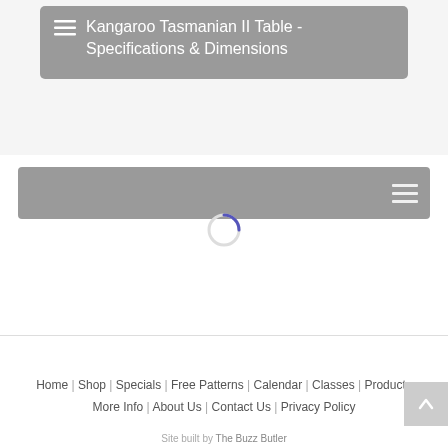[Figure (screenshot): A gray rounded card/accordion header with a list icon and the title 'Kangaroo Tasmanian II Table - Specifications & Dimensions' in white text on a gray background]
[Figure (screenshot): A gray navigation bar with a hamburger menu icon on the right side, and a circular loading spinner centered below it]
Home | Shop | Specials | Free Patterns | Calendar | Classes | Products | More Info | About Us | Contact Us | Privacy Policy
Site built by The Buzz Butler